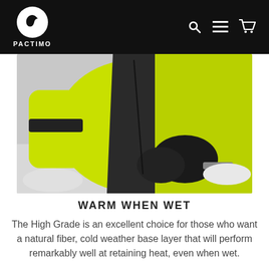PACTIMO
[Figure (photo): Person in a bright yellow-green cycling jacket with black gloves zipping up a vest outdoors in winter/snowy conditions]
WARM WHEN WET
The High Grade is an excellent choice for those who want a natural fiber, cold weather base layer that will perform remarkably well at retaining heat, even when wet.